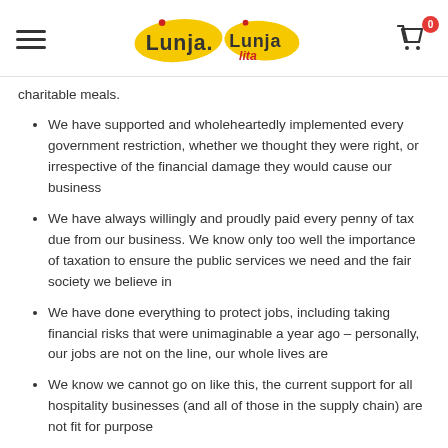Lunja / Lunja lita — navigation header with hamburger menu, logo, and shopping cart
…y g… p…g charitable meals.
We have supported and wholeheartedly implemented every government restriction, whether we thought they were right, or irrespective of the financial damage they would cause our business
We have always willingly and proudly paid every penny of tax due from our business. We know only too well the importance of taxation to ensure the public services we need and the fair society we believe in
We have done everything to protect jobs, including taking financial risks that were unimaginable a year ago – personally, our jobs are not on the line, our whole lives are
We know we cannot go on like this, the current support for all hospitality businesses (and all of those in the supply chain) are not fit for purpose